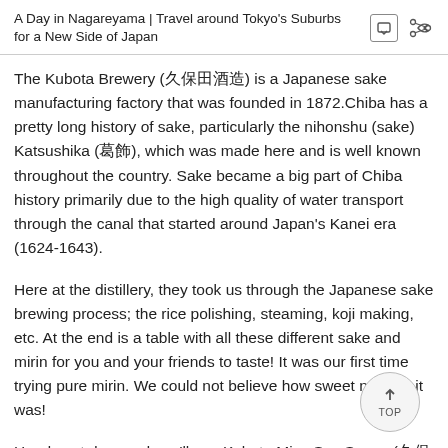A Day in Nagareyama | Travel around Tokyo's Suburbs for a New Side of Japan
The Kubota Brewery (久保田酒造) is a Japanese sake manufacturing factory that was founded in 1872.Chiba has a pretty long history of sake, particularly the nihonshu (sake) Katsushika (葛飾), which was made here and is well known throughout the country. Sake became a big part of Chiba history primarily due to the high quality of water transport through the canal that started around Japan's Kanei era (1624-1643).
Here at the distillery, they took us through the Japanese sake brewing process; the rice polishing, steaming, koji making, etc. At the end is a table with all these different sake and mirin for you and your friends to taste! It was our first time trying pure mirin. We could not believe how sweet natural, it was!
Head next door and you'll see Kubota Miso Soy Sauce (久保田醒谷